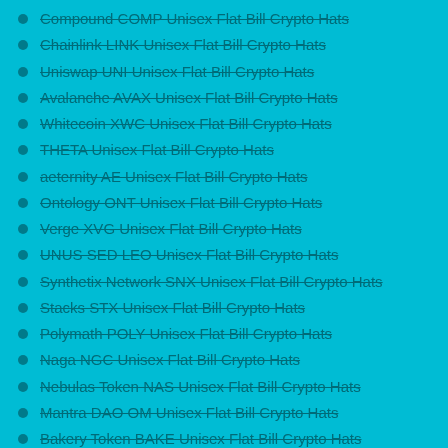Compound COMP Unisex Flat Bill Crypto Hats
Chainlink LINK Unisex Flat Bill Crypto Hats
Uniswap UNI Unisex Flat Bill Crypto Hats
Avalanche AVAX Unisex Flat Bill Crypto Hats
Whitecoin XWC Unisex Flat Bill Crypto Hats
THETA Unisex Flat Bill Crypto Hats
aeternity AE Unisex Flat Bill Crypto Hats
Ontology ONT Unisex Flat Bill Crypto Hats
Verge XVG Unisex Flat Bill Crypto Hats
UNUS SED LEO Unisex Flat Bill Crypto Hats
Synthetix Network SNX Unisex Flat Bill Crypto Hats
Stacks STX Unisex Flat Bill Crypto Hats
Polymath POLY Unisex Flat Bill Crypto Hats
Naga NGC Unisex Flat Bill Crypto Hats
Nebulas Token NAS Unisex Flat Bill Crypto Hats
Mantra DAO OM Unisex Flat Bill Crypto Hats
Bakery Token BAKE Unisex Flat Bill Crypto Hats